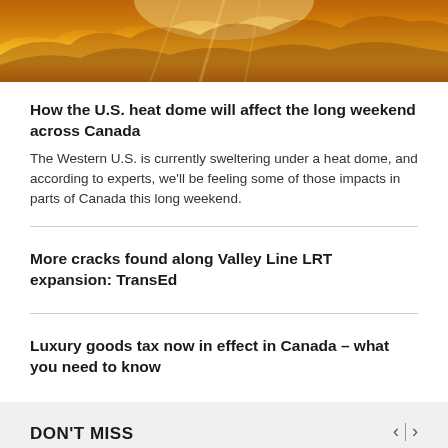[Figure (photo): Dramatic orange and golden sky with clouds illuminated by sun, heat dome visual]
How the U.S. heat dome will affect the long weekend across Canada
The Western U.S. is currently sweltering under a heat dome, and according to experts, we'll be feeling some of those impacts in parts of Canada this long weekend.
More cracks found along Valley Line LRT expansion: TransEd
Luxury goods tax now in effect in Canada – what you need to know
DON'T MISS